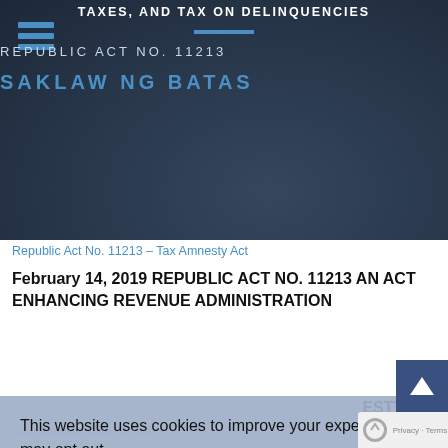[Figure (screenshot): Dark website header showing Philippine tax law page with hamburger menu icon, title text about estate tax and internal revenue taxes, blue horizontal line, 'REPUBLIC ACT NO. 11213' text, and 'SAKLAW NG BATAS' blue text at bottom of header image]
Republic Act No. 11213 – Tax Amnesty Act
February 14, 2019 REPUBLIC ACT NO. 11213 AN ACT ENHANCING REVENUE ADMINISTRATION …ESTY …AXES …MENT …EARS …THER … ON …isions
This website uses cookies to improve your experience on our website. We'll assume it's okay with you, but you may opt out.
Privacy Policy
Decline
Accept